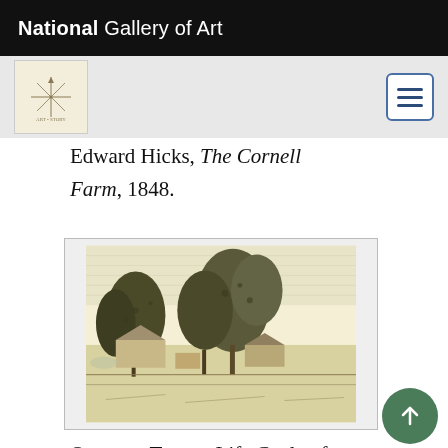National Gallery of Art
Edward Hicks, The Cornell Farm, 1848.
[Figure (illustration): A black-and-white engraving depicting a farm landscape with trees, buildings, and foliage, shown within a bordered frame on a light background.]
Orsamus Turner, Life Cycle of a Pioneer Woodsman ("Third Sketch of the...